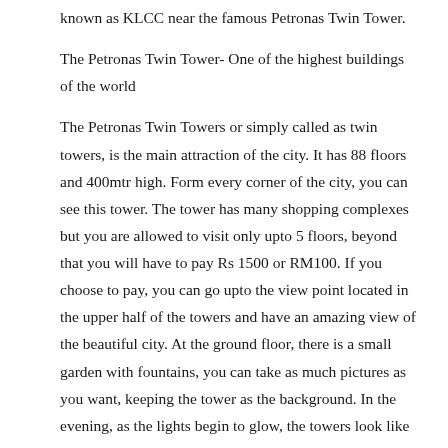known as KLCC near the famous Petronas Twin Tower.
The Petronas Twin Tower- One of the highest buildings of the world
The Petronas Twin Towers or simply called as twin towers, is the main attraction of the city. It has 88 floors and 400mtr high. Form every corner of the city, you can see this tower. The tower has many shopping complexes but you are allowed to visit only upto 5 floors, beyond that you will have to pay Rs 1500 or RM100. If you choose to pay, you can go upto the view point located in the upper half of the towers and have an amazing view of the beautiful city. At the ground floor, there is a small garden with fountains, you can take as much pictures as you want, keeping the tower as the background. In the evening, as the lights begin to glow, the towers look like huge candles.